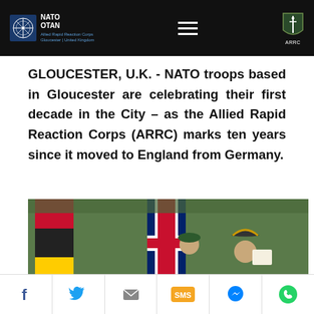NATO OTAN Allied Rapid Reaction Corps – Gloucester | United Kingdom – ARRC
GLOUCESTER, U.K. - NATO troops based in Gloucester are celebrating their first decade in the City – as the Allied Rapid Reaction Corps (ARRC) marks ten years since it moved to England from Germany.
[Figure (photo): Photograph showing flags of Germany and the United Kingdom being held by people, including a person in a green beret and a historical-costumed figure in a tricorn hat, with green trees in the background.]
Social sharing icons: Facebook, Twitter, Email, SMS, Messenger, WhatsApp